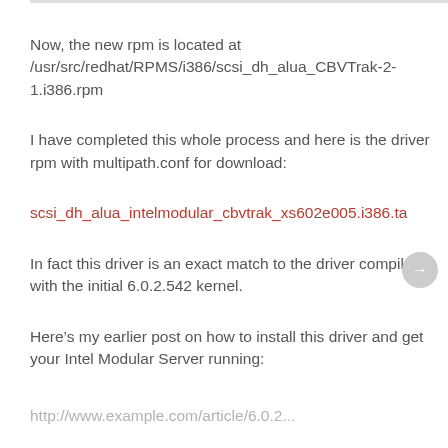Now, the new rpm is located at /usr/src/redhat/RPMS/i386/scsi_dh_alua_CBVTrak-2-1.i386.rpm
I have completed this whole process and here is the driver rpm with multipath.conf for download:
scsi_dh_alua_intelmodular_cbvtrak_xs602e005.i386.ta
In fact this driver is an exact match to the driver compiled with the initial 6.0.2.542 kernel.
Here’s my earlier post on how to install this driver and get your Intel Modular Server running: